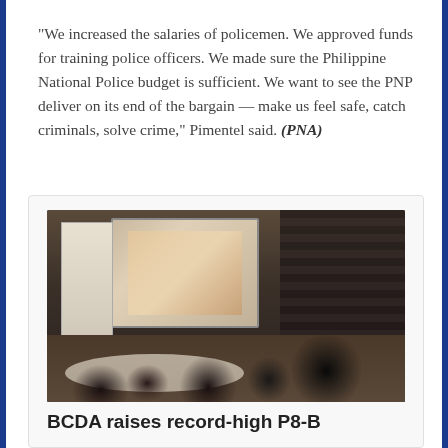"We increased the salaries of policemen. We approved funds for training police officers. We made sure the Philippine National Police budget is sufficient. We want to see the PNP deliver on its end of the bargain — make us feel safe, catch criminals, solve crime," Pimentel said. (PNA)
[Figure (photo): Indoor event/meeting photo showing people seated at round tables in a dimly lit conference room with a projection screen at the front and a decorative wall panel on the right. A person in dark clothing stands at the front.]
BCDA raises record-high P8-B